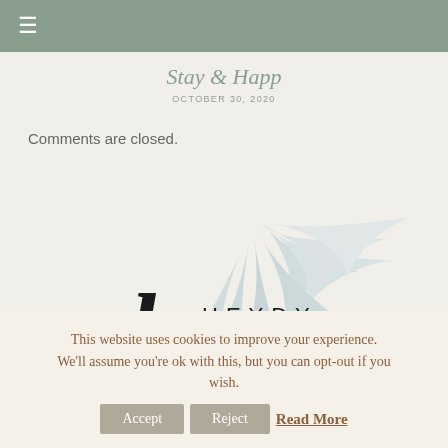≡
Stay & Happ
OCTOBER 30, 2020
Comments are closed.
[Figure (logo): Heydy Luna brand logo with palm leaf illustration and cursive script lettering 'luna' over 'HEYDY']
This website uses cookies to improve your experience. We'll assume you're ok with this, but you can opt-out if you wish. Accept Reject Read More